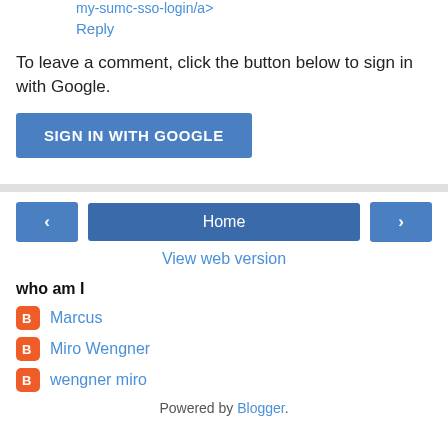my-sumc-sso-login/a>
Reply
To leave a comment, click the button below to sign in with Google.
[Figure (other): Blue button labeled SIGN IN WITH GOOGLE]
[Figure (other): Navigation bar with left arrow button, Home button, and right arrow button]
View web version
who am I
Marcus
Miro Wengner
wengner miro
Powered by Blogger.